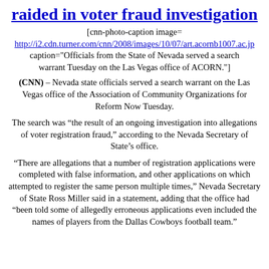raided in voter fraud investigation
[cnn-photo-caption image= http://i2.cdn.turner.com/cnn/2008/images/10/07/art.acornb1007.ac.jp caption="Officials from the State of Nevada served a search warrant Tuesday on the Las Vegas office of ACORN."]
(CNN) – Nevada state officials served a search warrant on the Las Vegas office of the Association of Community Organizations for Reform Now Tuesday.
The search was “the result of an ongoing investigation into allegations of voter registration fraud,” according to the Nevada Secretary of State’s office.
“There are allegations that a number of registration applications were completed with false information, and other applications on which attempted to register the same person multiple times,” Nevada Secretary of State Ross Miller said in a statement, adding that the office had “been told some of allegedly erroneous applications even included the names of players from the Dallas Cowboys football team.”